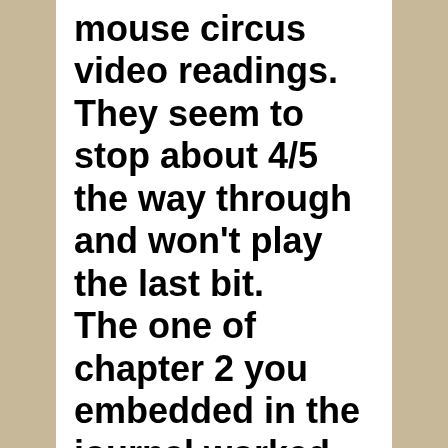mouse circus video readings. They seem to stop about 4/5 the way through and won't play the last bit. The one of chapter 2 you embedded in the journal worked fine. I thought maybe I wasn't the only one having these problems and maybe